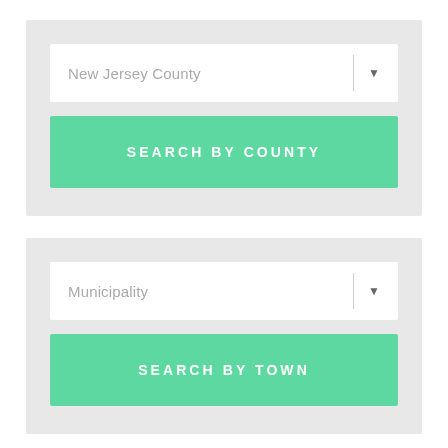[Figure (screenshot): Dropdown selector showing 'New Jersey County' placeholder text with a divider and downward arrow]
SEARCH BY COUNTY
[Figure (screenshot): Dropdown selector showing 'Municipality' placeholder text with a divider and downward arrow]
SEARCH BY TOWN